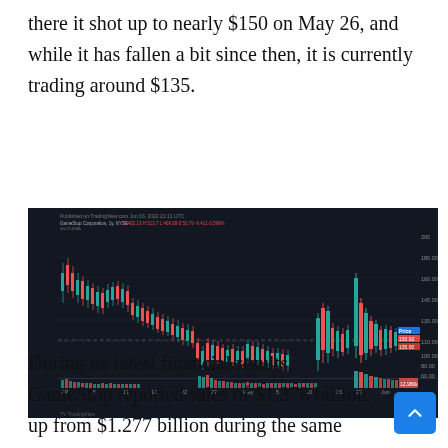there it shot up to nearly $150 on May 26, and while it has fallen a bit since then, it is currently trading around $135.
[Figure (continuous-plot): TradingView candlestick chart of GameStop (GME) stock price showing price action from approximately April through early June 2021. The chart shows a dramatic price spike to nearly $150 around May 26, with price currently around $135. Volume bars are shown at the bottom. The chart includes price levels labeled on the right axis and dates on the bottom axis.]
During its latest financial results, GameStop reported sales of $1.378 billion, up from $1.277 billion during the same period last year. The